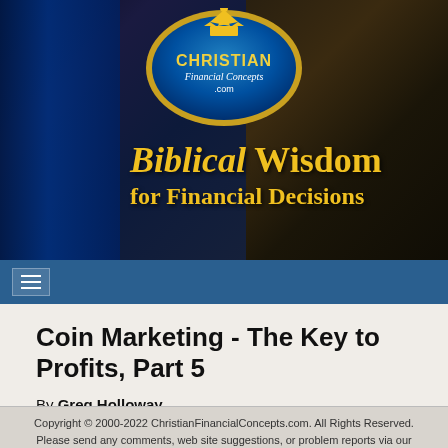[Figure (photo): Banner image showing a stage/conference hall with blue curtains and lighting on the left, brick building interior on the right, with an oval blue logo for ChristianFinancialConcepts.com featuring a golden crown at top and the text CHRISTIAN Financial Concepts .com. Below the logo, bold yellow text reads 'Biblical Wisdom for Financial Decisions'.]
Coin Marketing - The Key to Profits, Part 5
By Greg Holloway
Copyright © 2000-2022 ChristianFinancialConcepts.com. All Rights Reserved. Please send any comments, web site suggestions, or problem reports via our contact